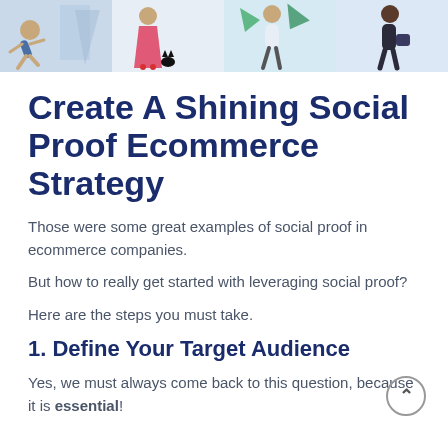[Figure (illustration): Decorative banner illustration showing stylized people figures in various poses against a light blue background — a person crouching, a woman in red heels with a black cat, a person with green elements, and a person on the right edge.]
Create A Shining Social Proof Ecommerce Strategy
Those were some great examples of social proof in ecommerce companies.
But how to really get started with leveraging social proof?
Here are the steps you must take.
1. Define Your Target Audience
Yes, we must always come back to this question, because it is essential!